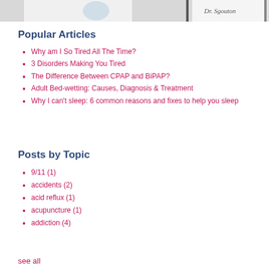[Figure (photo): Partial photo at top of page showing a person and a signature-like graphic on white/grey background]
Popular Articles
Why am I So Tired All The Time?
3 Disorders Making You Tired
The Difference Between CPAP and BiPAP?
Adult Bed-wetting: Causes, Diagnosis & Treatment
Why I can't sleep: 6 common reasons and fixes to help you sleep
Posts by Topic
9/11 (1)
accidents (2)
acid reflux (1)
acupuncture (1)
addiction (4)
see all